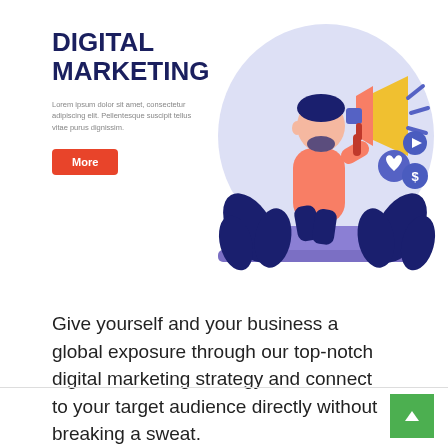[Figure (illustration): Digital marketing hero illustration: a man holding a megaphone with social media icons (heart, play, dollar) floating around him, standing in front of a purple/lavender blob background with dark leaves/plants at the bottom, on a purple platform.]
DIGITAL MARKETING
Lorem ipsum dolor sit amet, consectetur adipiscing elit. Pellentesque suscipit tellus vitae purus dignissim.
More
Give yourself and your business a global exposure through our top-notch digital marketing strategy and connect to your target audience directly without breaking a sweat.